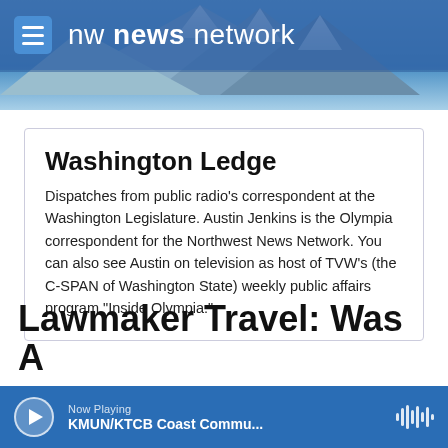nw news network
Washington Ledge
Dispatches from public radio's correspondent at the Washington Legislature. Austin Jenkins is the Olympia correspondent for the Northwest News Network. You can also see Austin on television as host of TVW's (the C-SPAN of Washington State) weekly public affairs program "Inside Olympia."
Lawmaker Travel: Was A
Now Playing
KMUN/KTCB Coast Commu...